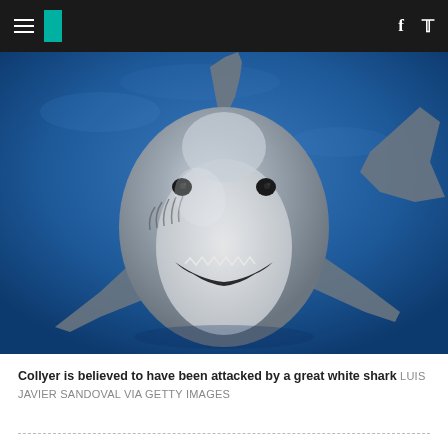HuffPost navigation header with hamburger menu, logo, facebook and twitter icons
[Figure (photo): Great white shark swimming toward camera underwater, blue ocean background, front-facing view showing teeth and pectoral fins extended]
Collyer is believed to have been attacked by a great white shark LUIS JAVIER SANDOVAL VIA GETTY IMAGES